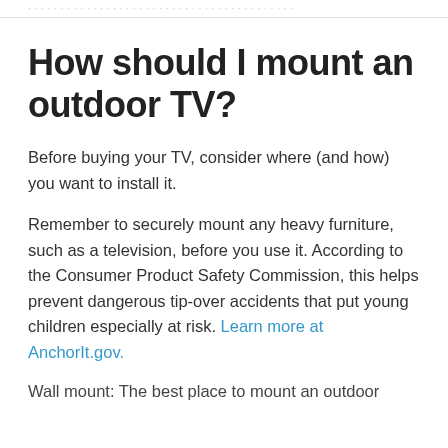How should I mount an outdoor TV?
Before buying your TV, consider where (and how) you want to install it.
Remember to securely mount any heavy furniture, such as a television, before you use it. According to the Consumer Product Safety Commission, this helps prevent dangerous tip-over accidents that put young children especially at risk. Learn more at AnchorIt.gov.
Wall mount: The best place to mount an outdoor